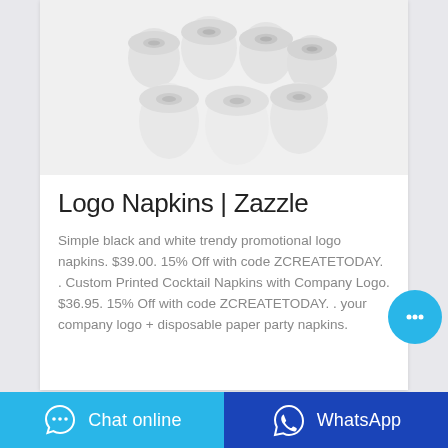[Figure (photo): Several white paper rolls/napkins stacked together on a light background]
Logo Napkins | Zazzle
Simple black and white trendy promotional logo napkins. $39.00. 15% Off with code ZCREATETODAY. . Custom Printed Cocktail Napkins with Company Logo. $36.95. 15% Off with code ZCREATETODAY. . your company logo + disposable paper party napkins.
[Figure (illustration): Blue circular chat bubble button with ellipsis icon]
[Figure (illustration): Chat online button with speech bubble icon (blue background)]
[Figure (illustration): WhatsApp button with WhatsApp logo icon (dark blue background)]